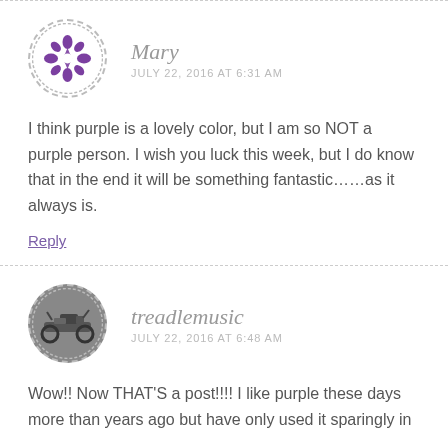[Figure (illustration): Circular avatar with dashed border showing a purple geometric/floral pattern design for user Mary]
Mary
JULY 22, 2016 AT 6:31 AM
I think purple is a lovely color, but I am so NOT a purple person. I wish you luck this week, but I do know that in the end it will be something fantastic……as it always is.
Reply
[Figure (photo): Circular avatar with dashed border showing a photo of a motorcycle for user treadlemusic]
treadlemusic
JULY 22, 2016 AT 6:48 AM
Wow!! Now THAT'S a post!!!! I like purple these days more than years ago but have only used it sparingly in